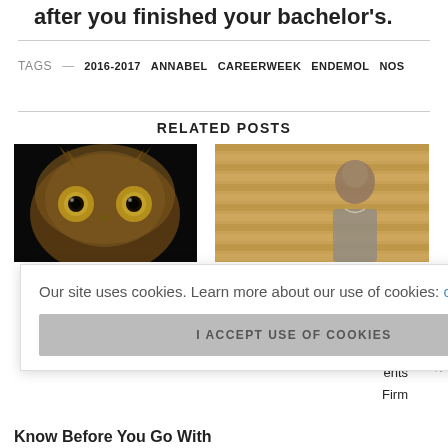after you finished your bachelor's.
TAGS — 2016-2017  ANNABEL  CAREERWEEK  ENDEMOL  NOS
RELATED POSTS
[Figure (photo): Close-up photo of an owl with glowing yellow eyes against a dark background]
[Figure (photo): Photo of a man standing in front of a striped wooden background]
Our site uses cookies. Learn more about our use of cookies: cookie policy
I ACCEPT USE OF COOKIES
Scroll To Top
Know Before You Go With